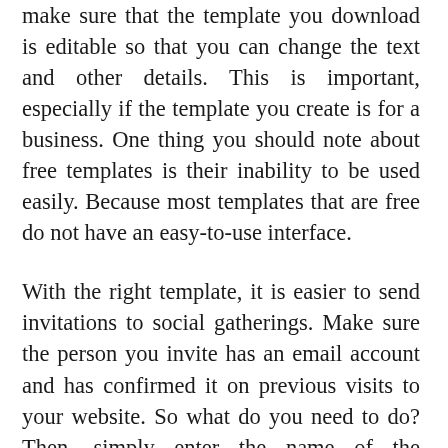make sure that the template you download is editable so that you can change the text and other details. This is important, especially if the template you create is for a business. One thing you should note about free templates is their inability to be used easily. Because most templates that are free do not have an easy-to-use interface.
With the right template, it is easier to send invitations to social gatherings. Make sure the person you invite has an email account and has confirmed it on previous visits to your website. So what do you need to do? Then, simply enter the name of the recipient in “send as”, and click send. The rest is easy. Your email address will be inserted into the “To:” field after you have finished typing it.